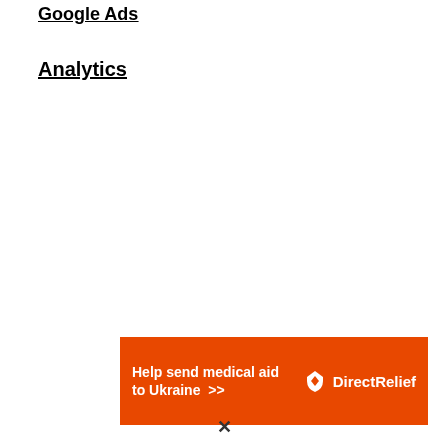Google Ads
Analytics
[Figure (other): Direct Relief advertisement banner: orange background with white bold text 'Help send medical aid to Ukraine >>' and Direct Relief logo on the right]
X